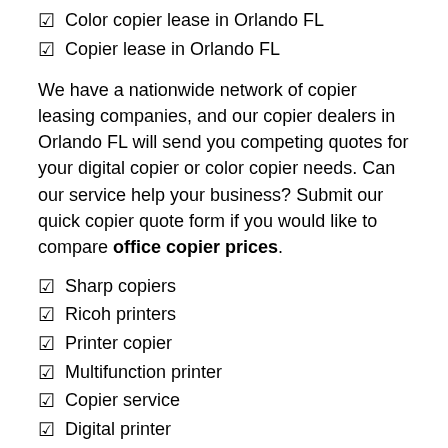☑ Color copier lease in Orlando FL
☑ Copier lease in Orlando FL
We have a nationwide network of copier leasing companies, and our copier dealers in Orlando FL will send you competing quotes for your digital copier or color copier needs. Can our service help your business? Submit our quick copier quote form if you would like to compare office copier prices.
☑ Sharp copiers
☑ Ricoh printers
☑ Printer copier
☑ Multifunction printer
☑ Copier service
☑ Digital printer
☑ Business printers
Office Copier Rentals Orlando FL